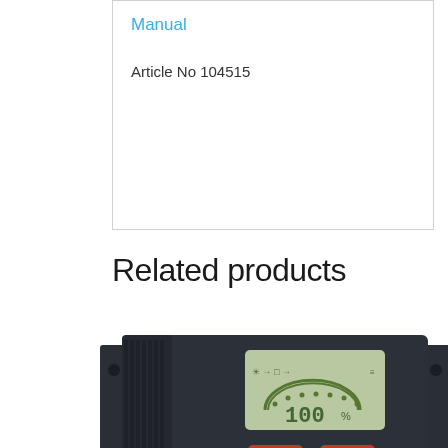Manual
Article No 104515
Related products
[Figure (photo): Steca PR solar charge controller with LCD display showing 100%, two red push buttons, and mounting brackets on both sides]